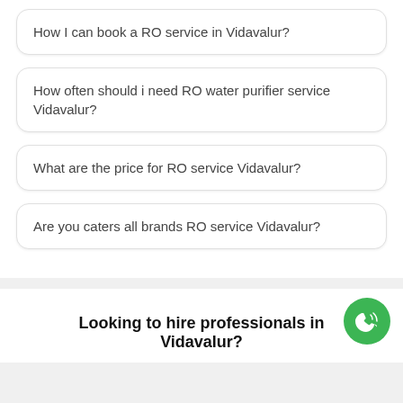How I can book a RO service in Vidavalur?
How often should i need RO water purifier service Vidavalur?
What are the price for RO service Vidavalur?
Are you caters all brands RO service Vidavalur?
Looking to hire professionals in Vidavalur?